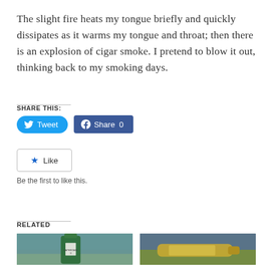The slight fire heats my tongue briefly and quickly dissipates as it warms my tongue and throat; then there is an explosion of cigar smoke. I pretend to blow it out, thinking back to my smoking days.
SHARE THIS:
[Figure (screenshot): Tweet and Share 0 social media buttons]
[Figure (screenshot): Like button widget with star icon]
Be the first to like this.
RELATED
[Figure (photo): Photo of a Laphroaig 10 Year Old whisky bottle in front of water]
[Figure (photo): Photo of a whisky bottle lying in grass or foliage]